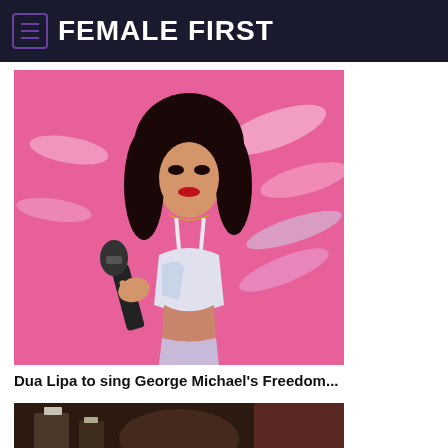FEMALE FIRST
[Figure (photo): Dua Lipa performing on stage, holding a microphone, wearing a white crop top, with pink background]
Dua Lipa to sing George Michael's Freedom...
[Figure (photo): Second article image, partially visible, dark indoor scene]